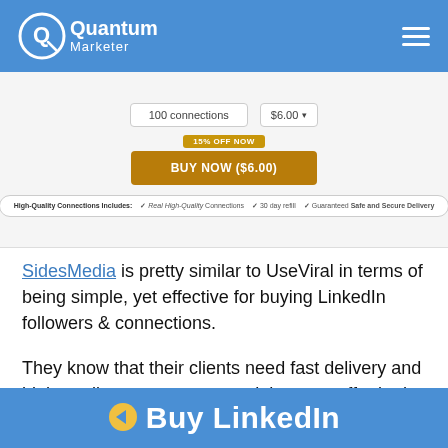Quantum Marketer
[Figure (screenshot): SidesMedia product page screenshot showing 100 connections selector, $6.00 price, 15% OFF NOW badge, BUY NOW ($6.00) button, and features bar with High-Quality Connections Includes, Real High-Quality Connections, 30 day refill, Guaranteed Safe and Secure Delivery]
SidesMedia is pretty similar to UseViral in terms of being simple, yet effective for buying LinkedIn followers & connections.
They know that their clients need fast delivery and high-quality engagement, and they can offer both.
[Figure (infographic): Blue banner with arrow icon and 'Buy LinkedIn' text in white bold letters]